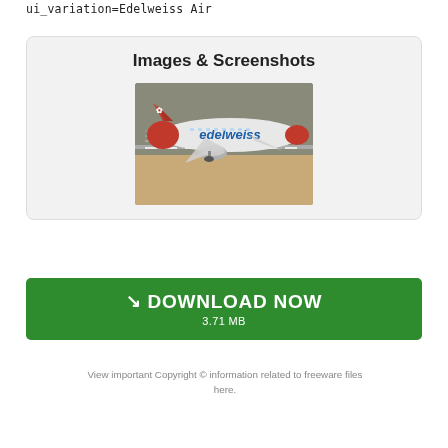ui_variation=Edelweiss Air
Images & Screenshots
[Figure (screenshot): Screenshot of an Edelweiss Air airplane livery on a flight simulator, showing a white and red plane with blue 'edelweiss' text on the fuselage, parked on an airstrip tarmac.]
↘ DOWNLOAD NOW
3.71 MB
View important Copyright © information related to freeware files here.